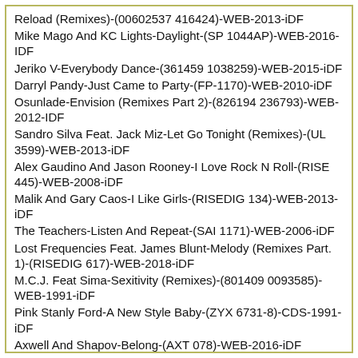Reload (Remixes)-(00602537 416424)-WEB-2013-iDF
Mike Mago And KC Lights-Daylight-(SP 1044AP)-WEB-2016-IDF
Jeriko V-Everybody Dance-(361459 1038259)-WEB-2015-iDF
Darryl Pandy-Just Came to Party-(FP-1170)-WEB-2010-iDF
Osunlade-Envision (Remixes Part 2)-(826194 236793)-WEB-2012-IDF
Sandro Silva Feat. Jack Miz-Let Go Tonight (Remixes)-(UL 3599)-WEB-2013-iDF
Alex Gaudino And Jason Rooney-I Love Rock N Roll-(RISE 445)-WEB-2008-iDF
Malik And Gary Caos-I Like Girls-(RISEDIG 134)-WEB-2013-iDF
The Teachers-Listen And Repeat-(SAI 1171)-WEB-2006-iDF
Lost Frequencies Feat. James Blunt-Melody (Remixes Part. 1)-(RISEDIG 617)-WEB-2018-iDF
M.C.J. Feat Sima-Sexitivity (Remixes)-(801409 0093585)-WEB-1991-iDF
Pink Stanly Ford-A New Style Baby-(ZYX 6731-8)-CDS-1991-iDF
Axwell And Shapov-Belong-(AXT 078)-WEB-2016-iDF